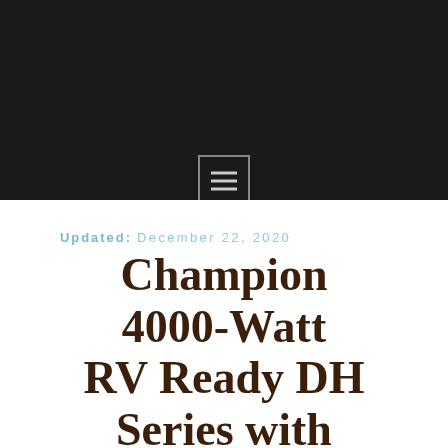[Figure (other): Black header banner with a menu/hamburger icon inside a square border]
Updated: December 22, 2020
Champion 4000-Watt RV Ready DH Series with Quiet Technology